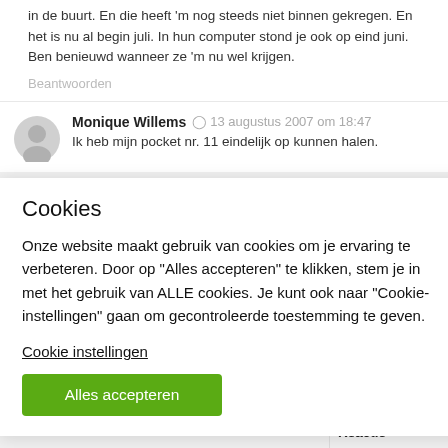in de buurt. En die heeft 'm nog steeds niet binnen gekregen. En het is nu al begin juli. In hun computer stond je ook op eind juni. Ben benieuwd wanneer ze 'm nu wel krijgen.
Beantwoorden
Monique Willems  13 augustus 2007 om 18:47
Ik heb mijn pocket nr. 11 eindelijk op kunnen halen.
ndel belde dat ze
kregen.
en geschreven
. Maar ik ben blij
mijn collectie
Cookies
Onze website maakt gebruik van cookies om je ervaring te verbeteren. Door op "Alles accepteren" te klikken, stem je in met het gebruik van ALLE cookies. Je kunt ook naar "Cookie-instellingen" gaan om gecontroleerde toestemming te geven.
Cookie instellingen
Alles accepteren
Reactie *